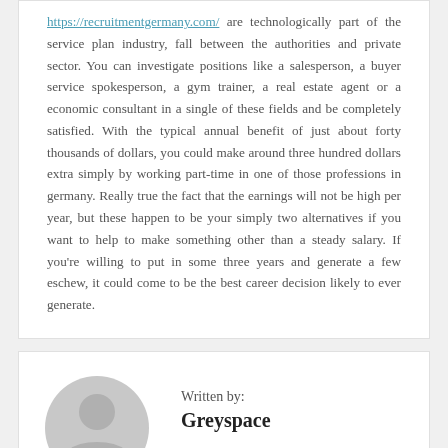https://recruitmentgermany.com/ are technologically part of the service plan industry, fall between the authorities and private sector. You can investigate positions like a salesperson, a buyer service spokesperson, a gym trainer, a real estate agent or a economic consultant in a single of these fields and be completely satisfied. With the typical annual benefit of just about forty thousands of dollars, you could make around three hundred dollars extra simply by working part-time in one of those professions in germany. Really true the fact that the earnings will not be high per year, but these happen to be your simply two alternatives if you want to help to make something other than a steady salary. If you're willing to put in some three years and generate a few eschew, it could come to be the best career decision likely to ever generate.
[Figure (illustration): Grey placeholder avatar icon showing a person silhouette with a circular head and rounded body shape]
Written by: Greyspace
View All Posts →